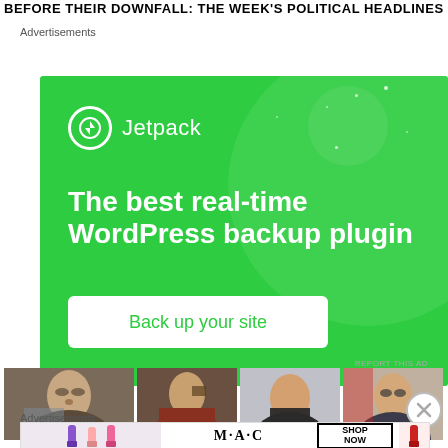BEFORE THEIR DOWNFALL: THE WEEK...
Advertisements
[Figure (other): Jetpack WordPress backup plugin advertisement. Green background with large circle decoration, Jetpack logo and name, tagline 'The best real-time WordPress backup plugin', and 'Back up your site' button.]
REPORT THIS AD
[Figure (photo): Row of four thumbnail photos of political figures]
Advertisements
[Figure (other): MAC Cosmetics advertisement showing lipsticks and SHOP NOW button]